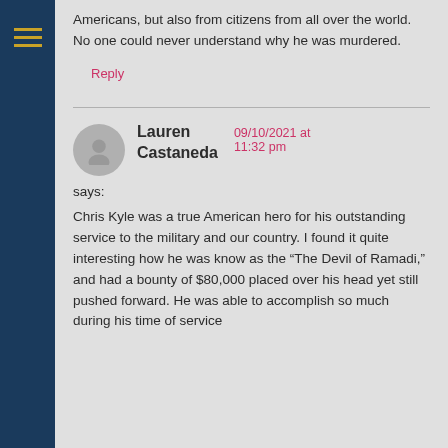Americans, but also from citizens from all over the world. No one could never understand why he was murdered.
Reply
Lauren Castaneda says:
09/10/2021 at 11:32 pm
Chris Kyle was a true American hero for his outstanding service to the military and our country. I found it quite interesting how he was know as the “The Devil of Ramadi,” and had a bounty of $80,000 placed over his head yet still pushed forward. He was able to accomplish so much during his time of service